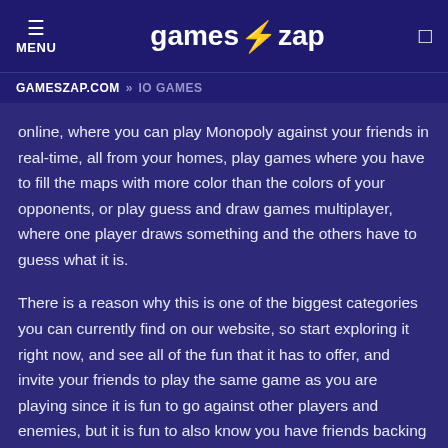MENU | games⚡zap
GAMESZAP.COM » IO GAMES
online, where you can play Monopoly against your friends in real-time, all from your homes, play games where you have to fill the maps with more color than the colors of your opponents, or play guess and draw games multiplayer, where one player draws something and the others have to guess what it is.
There is a reason why this is one of the biggest categories you can currently find on our website, so start exploring it right now, and see all of the fun that it has to offer, and invite your friends to play the same game as you are playing since it is fun to go against other players and enemies, but it is fun to also know you have friends backing you up and you are experiencing the same thing together.